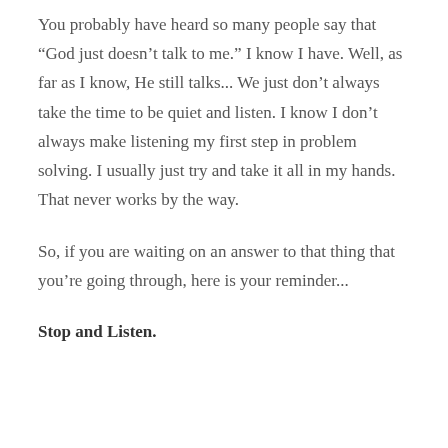You probably have heard so many people say that “God just doesn’t talk to me.” I know I have. Well, as far as I know, He still talks... We just don’t always take the time to be quiet and listen. I know I don’t always make listening my first step in problem solving. I usually just try and take it all in my hands. That never works by the way.
So, if you are waiting on an answer to that thing that you’re going through, here is your reminder...
Stop and Listen.